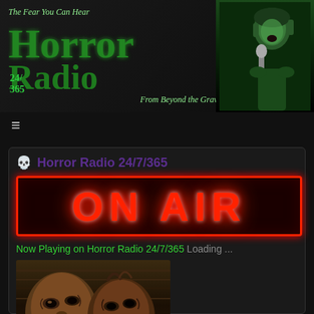[Figure (illustration): Horror Radio 24/7/365 website banner. Green-tinted stylized text logo reading 'Horror Radio' with '24/7 365' on left side. Tagline 'The Fear You Can Hear' at top and 'From Beyond the Grave' at bottom. Green-tinted screaming woman image on right side holding her face next to a vintage microphone. Dark background.]
≡
Horror Radio 24/7/365
[Figure (illustration): ON AIR neon sign — bright red glowing letters 'ON AIR' on black/dark red background with red neon border rectangle]
Now Playing on Horror Radio 24/7/365 Loading ...
[Figure (photo): Close-up horror image of two zombie or monster faces with decayed, terrifying expressions in warm brown/orange tones against a dark background]